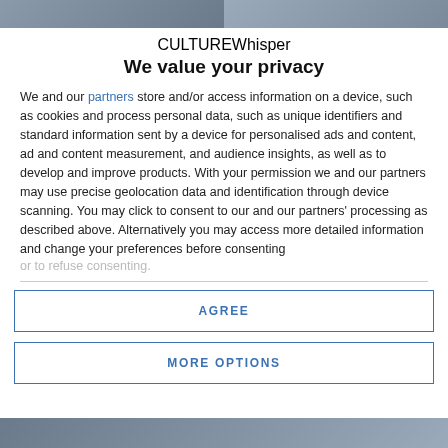[Figure (photo): Top banner image split into two halves showing blurred photos]
CULTUREWhisper
We value your privacy
We and our partners store and/or access information on a device, such as cookies and process personal data, such as unique identifiers and standard information sent by a device for personalised ads and content, ad and content measurement, and audience insights, as well as to develop and improve products. With your permission we and our partners may use precise geolocation data and identification through device scanning. You may click to consent to our and our partners' processing as described above. Alternatively you may access more detailed information and change your preferences before consenting or to refuse consenting.
AGREE
MORE OPTIONS
[Figure (photo): Bottom banner image showing blurred photos]